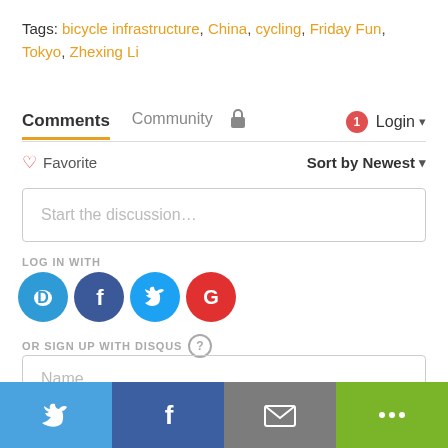Tags: bicycle infrastructure, China, cycling, Friday Fun, Tokyo, Zhexing Li
Comments  Community  🔒  1  Login ▾
♡ Favorite  Sort by Newest ▾
Start the discussion…
LOG IN WITH
[Figure (infographic): Social login icons: Disqus (blue), Facebook (dark blue), Twitter (light blue), Google (red)]
OR SIGN UP WITH DISQUS ?
Name
[Figure (infographic): Share bar at bottom with Twitter (blue), Facebook (dark blue), Email (gray), Share (green) buttons]